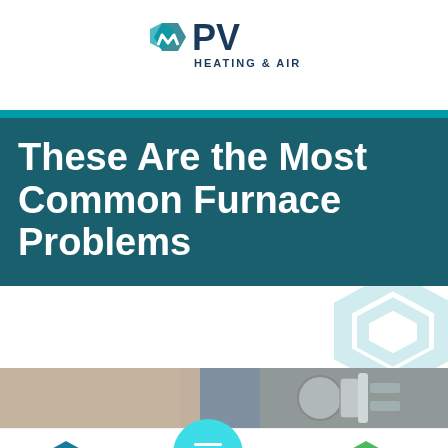[Figure (logo): PV Heating & Air logo with teal hexagon icon and dark blue text]
These Are the Most Common Furnace Problems
[Figure (photo): Partial photo of furnace or HVAC equipment, showing metal pipes and wall]
Call Us
Menu
Schedule Now